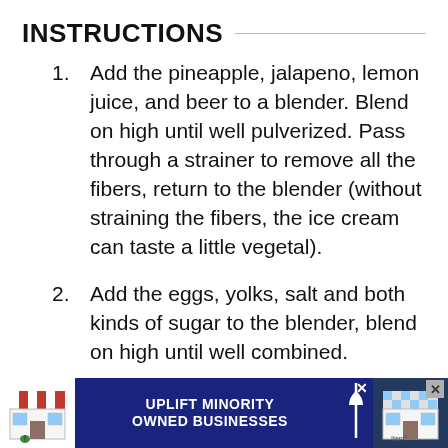INSTRUCTIONS
Add the pineapple, jalapeno, lemon juice, and beer to a blender. Blend on high until well pulverized. Pass through a strainer to remove all the fibers, return to the blender (without straining the fibers, the ice cream can taste a little vegetal).
Add the eggs, yolks, salt and both kinds of sugar to the blender, blend on high until well combined.
Add the cream and milk to a
[Figure (other): Advertisement banner: 'UPLIFT MINORITY OWNED BUSINESSES' with store illustrations on dark blue background with close buttons]